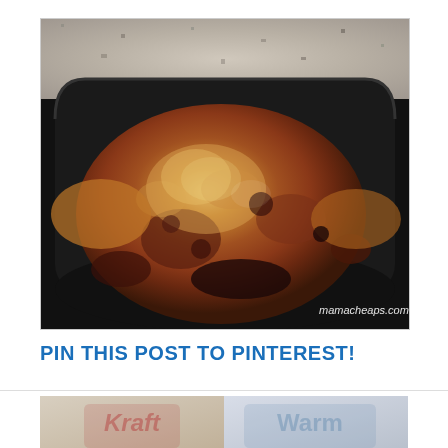[Figure (photo): A whole rotisserie chicken in a black plastic tray, set on a granite countertop. The chicken is golden-brown and well-roasted. A watermark reads mamacheaps.com in the bottom-right corner.]
PIN THIS POST TO PINTEREST!
[Figure (photo): Partial view of a second image showing Kraft and Warm branded products or packaging, partially cropped at the bottom of the page.]